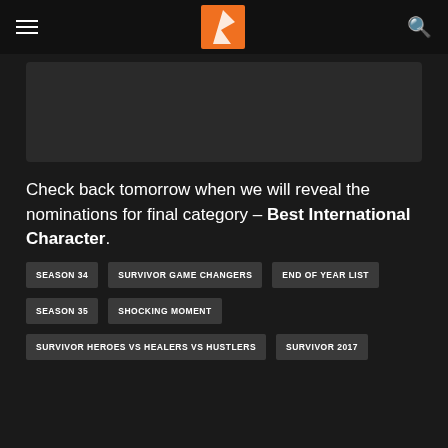[Figure (illustration): Dark placeholder image area]
Check back tomorrow when we will reveal the nominations for final category – Best International Character.
SEASON 34
SURVIVOR GAME CHANGERS
END OF YEAR LIST
SEASON 35
SHOCKING MOMENT
SURVIVOR HEROES VS HEALERS VS HUSTLERS
SURVIVOR 2017